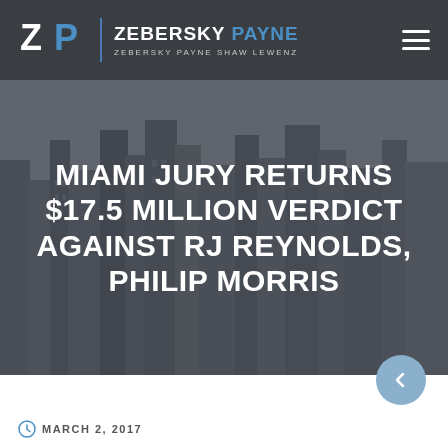ZEBERSKY PAYNE | ZEBERSKY PAYNE SHAW LEWENZ
MIAMI JURY RETURNS $17.5 MILLION VERDICT AGAINST RJ REYNOLDS, PHILIP MORRIS
MARCH 2, 2017